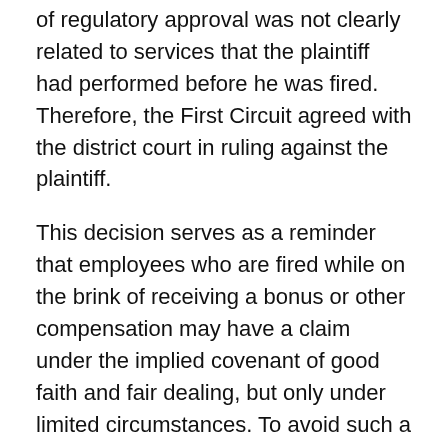of regulatory approval was not clearly related to services that the plaintiff had performed before he was fired. Therefore, the First Circuit agreed with the district court in ruling against the plaintiff.
This decision serves as a reminder that employees who are fired while on the brink of receiving a bonus or other compensation may have a claim under the implied covenant of good faith and fair dealing, but only under limited circumstances. To avoid such a claim, employers who fire an employee on the brink of receiving bonuses or similar compensation should carefully review whether the employee may have earned the compensation based on services that the employee has already performed. While the plaintiff in Suzuki did not have a viable claim